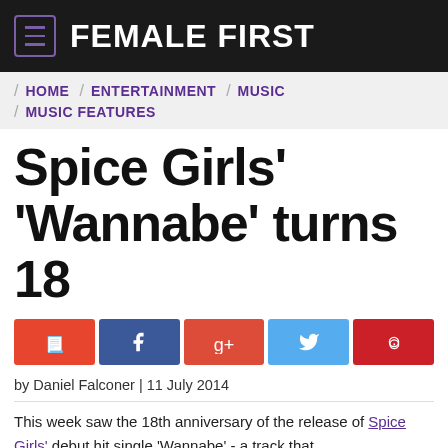FEMALE FIRST
HOME / ENTERTAINMENT / MUSIC / MUSIC FEATURES
Spice Girls' 'Wannabe' turns 18
by Daniel Falconer | 11 July 2014
This week saw the 18th anniversary of the release of Spice Girls' debut hit single 'Wannabe' - a track that